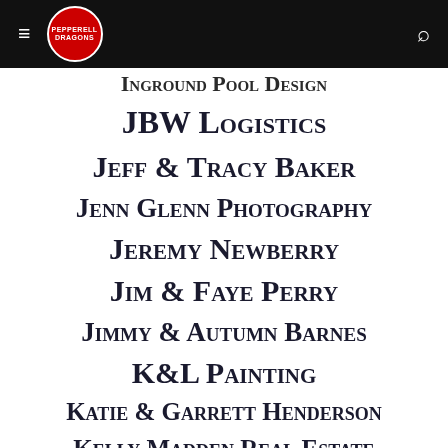Pepperell Dragons
Inground Pool Design
JBW Logistics
Jeff & Tracy Baker
Jenn Glenn Photography
Jeremy Newberry
Jim & Faye Perry
Jimmy & Autumn Barnes
K&L Painting
Katie & Garrett Henderson
Kelly Madden Real Estate